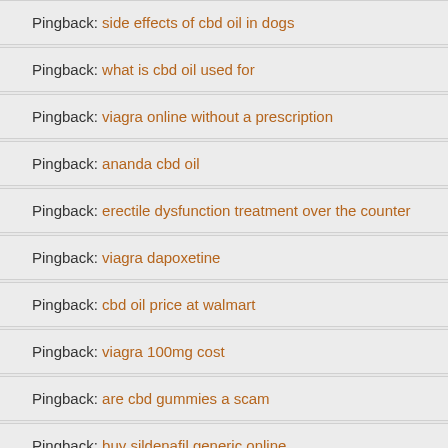Pingback: side effects of cbd oil in dogs
Pingback: what is cbd oil used for
Pingback: viagra online without a prescription
Pingback: ananda cbd oil
Pingback: erectile dysfunction treatment over the counter
Pingback: viagra dapoxetine
Pingback: cbd oil price at walmart
Pingback: viagra 100mg cost
Pingback: are cbd gummies a scam
Pingback: buy sildenafil generic online
Pingback: pure cbd oil for sale